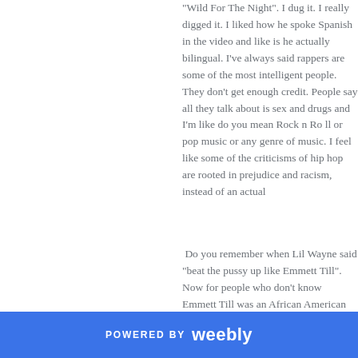"Wild For The Night". I dug it. I really digged it. I liked how he spoke Spanish in the video and like is he actually bilingual. I've always said rappers are some of the most intelligent people. They don't get enough credit. People say all they talk about is sex and drugs and I'm like do you mean Rock n Roll or pop music or any genre of music. I feel like some of the criticisms of hip hop are rooted in prejudice and racism, instead of an actual
Do you remember when Lil Wayne said "beat the pussy up like Emmett Till". Now for people who don't know Emmett Till was an African American boy killed by a white woman back in the fifties. There was a debate about whether it was appropriate or not about the intellectual of Lil Wayne.
POWERED BY weebly